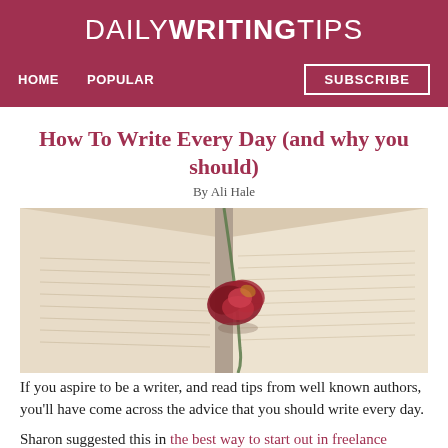DAILY WRITING TIPS
HOME   POPULAR   SUBSCRIBE
How To Write Every Day (and why you should)
By Ali Hale
[Figure (photo): An open book with a dried rose resting on the pages]
If you aspire to be a writer, and read tips from well known authors, you'll have come across the advice that you should write every day.
Sharon suggested this in the best way to start out in freelance writing